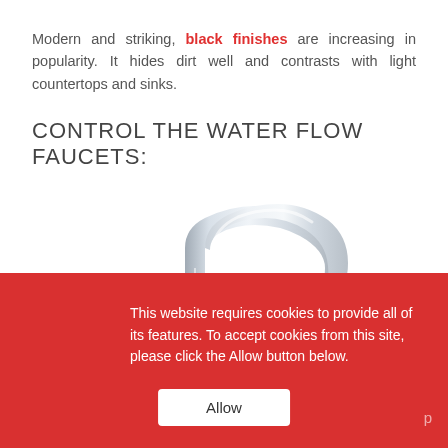Modern and striking, black finishes are increasing in popularity. It hides dirt well and contrasts with light countertops and sinks.
CONTROL THE WATER FLOW FAUCETS:
[Figure (photo): A chrome/silver faucet spout viewed from the side, showing a curved neck and aerator tip, on a white background.]
This website requires cookies to provide all of its features. To accept cookies from this site, please click the Allow button below.